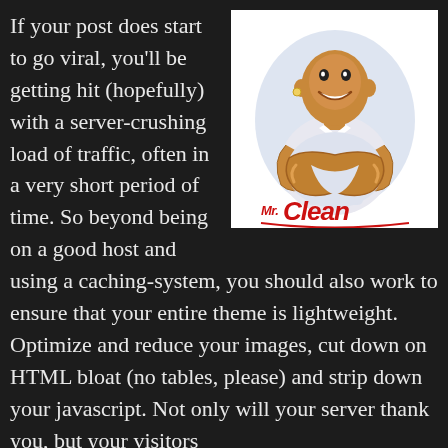[Figure (illustration): Mr. Clean logo: muscular bald man with arms crossed wearing white t-shirt, with 'Mr. Clean' text in red italic script below]
If your post does start to go viral, you'll be getting hit (hopefully) with a server-crushing load of traffic, often in a very short period of time. So beyond being on a good host and using a caching-system, you should also work to ensure that your entire theme is lightweight. Optimize and reduce your images, cut down on HTML bloat (no tables, please) and strip down your javascript. Not only will your server thank you, but your visitors